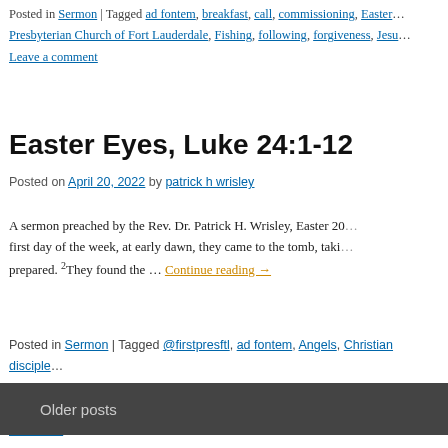Posted in Sermon | Tagged ad fontem, breakfast, call, commissioning, Eastern Presbyterian Church of Fort Lauderdale, Fishing, following, forgiveness, Jesu… Leave a comment
Easter Eyes, Luke 24:1-12
Posted on April 20, 2022 by patrick h wrisley
A sermon preached by the Rev. Dr. Patrick H. Wrisley, Easter 20… first day of the week, at early dawn, they came to the tomb, taki… prepared. 2They found the … Continue reading →
Posted in Sermon | Tagged @firstpresftl, ad fontem, Angels, Christian disciple… Presbyterian, First Presbyterian Fort Lauderdale, Jesus, Mary Magdalene, Pa… Comment
Older posts